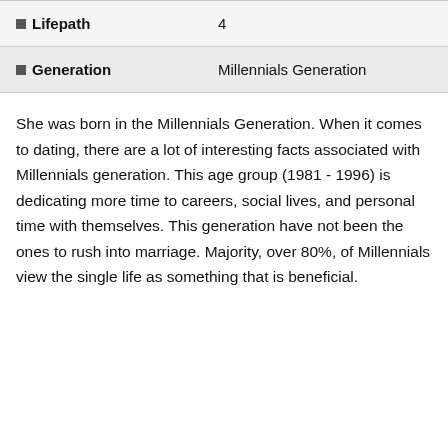| Field | Value |
| --- | --- |
| ☐ Lifepath | 4 |
| ☐ Generation | Millennials Generation |
She was born in the Millennials Generation. When it comes to dating, there are a lot of interesting facts associated with Millennials generation. This age group (1981 - 1996) is dedicating more time to careers, social lives, and personal time with themselves. This generation have not been the ones to rush into marriage. Majority, over 80%, of Millennials view the single life as something that is beneficial.